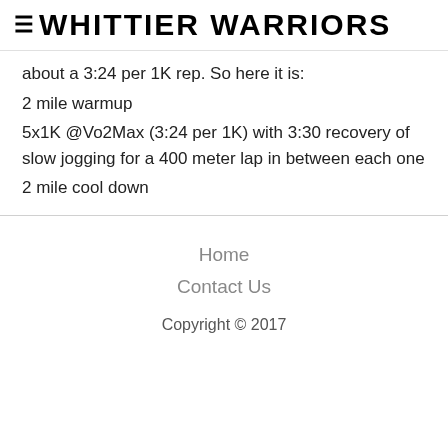≡ WHITTIER WARRIORS
about a 3:24 per 1K rep. So here it is:
2 mile warmup
5x1K @Vo2Max (3:24 per 1K) with 3:30 recovery of slow jogging for a 400 meter lap in between each one
2 mile cool down
Home
Contact Us
Copyright © 2017